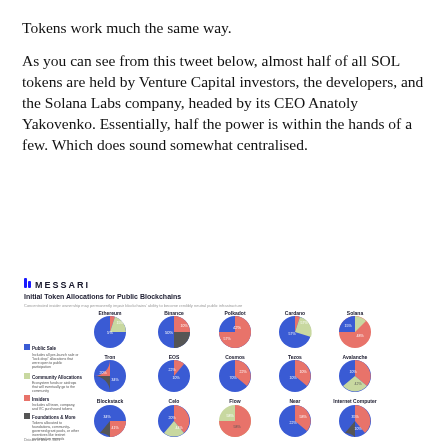Tokens work much the same way.
As you can see from this tweet below, almost half of all SOL tokens are held by Venture Capital investors, the developers, and the Solana Labs company, headed by its CEO Anatoly Yakovenko. Essentially, half the power is within the hands of a few. Which does sound somewhat centralised.
[Figure (infographic): MESSARI infographic showing Initial Token Allocations for Public Blockchains with pie charts for Ethereum, Binance, Polkadot, Cardano, Solana, Tron, EOS, Cosmos, Tezos, Avalanche, Blockstack, Celo, Flow, Near, Internet Computer. Legend shows Public Sale (blue), Community Allocations (light green), Insiders (red/salmon), Foundations & More (dark/charcoal). Subtitle: Concentrated insider ownership may permanently impair blockchains' ability to become credibly neutral public infrastructure.]